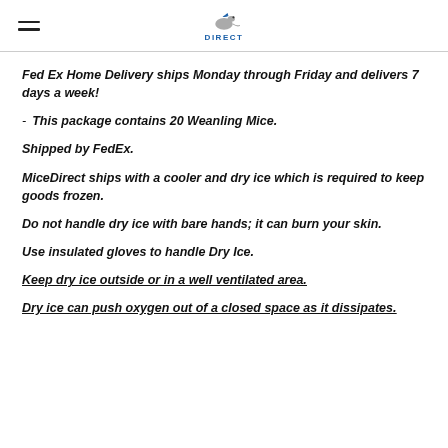MiceDirect logo header
Fed Ex Home Delivery ships Monday through Friday and delivers 7 days a week!
This package contains 20 Weanling Mice.
Shipped by FedEx.
MiceDirect ships with a cooler and dry ice which is required to keep goods frozen.
Do not handle dry ice with bare hands; it can burn your skin.
Use insulated gloves to handle Dry Ice.
Keep dry ice outside or in a well ventilated area.
Dry ice can push oxygen out of a closed space as it dissipates.